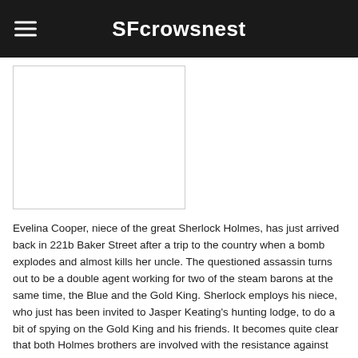SFcrowsnest
[Figure (photo): Book cover image placeholder (white rectangle with border)]
Evelina Cooper, niece of the great Sherlock Holmes, has just arrived back in 221b Baker Street after a trip to the country when a bomb explodes and almost kills her uncle. The questioned assassin turns out to be a double agent working for two of the steam barons at the same time, the Blue and the Gold King. Sherlock employs his niece, who just has been invited to Jasper Keating's hunting lodge, to do a bit of spying on the Gold King and his friends. It becomes quite clear that both Holmes brothers are involved with the resistance against the steam barons.
However, at the hunting lodge, Keating catches Evelina red-handed in a compromising situation with Tobias Roth. How unfortunate he is engaged to Keating's daughter. Keating blackmails Evelina into